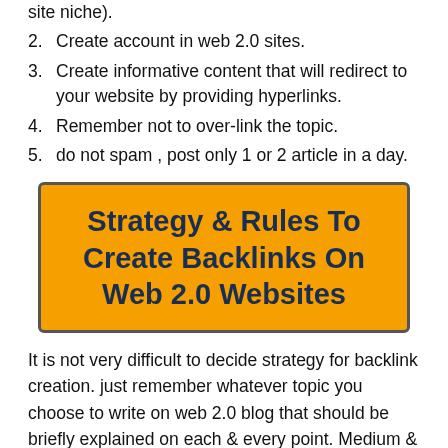site niche).
2. Create account in web 2.0 sites.
3. Create informative content that will redirect to your website by providing hyperlinks.
4. Remember not to over-link the topic.
5. do not spam , post only 1 or 2 article in a day.
[Figure (infographic): Orange banner with dark blue bold text reading: Strategy & Rules To Create Backlinks On Web 2.0 Websites]
It is not very difficult to decide strategy for backlink creation. just remember whatever topic you choose to write on web 2.0 blog that should be briefly explained on each & every point. Medium & others blogging post sites are